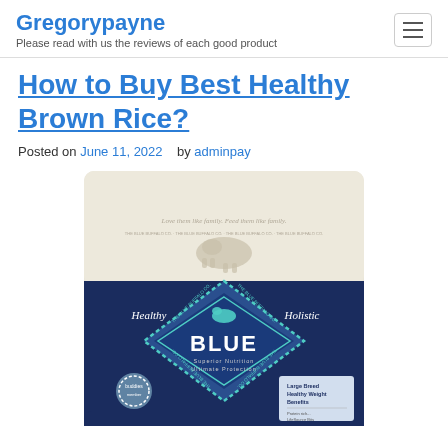Gregorypayne
Please read with us the reviews of each good product
How to Buy Best Healthy Brown Rice?
Posted on June 11, 2022   by adminpay
[Figure (photo): Blue Buffalo dog food bag — large breed healthy weight, showing the Blue Buffalo diamond logo on a blue and cream bag with 'Healthy' and 'Holistic' text, and 'Large Breed Healthy Weight Benefits' label on the bottom right.]